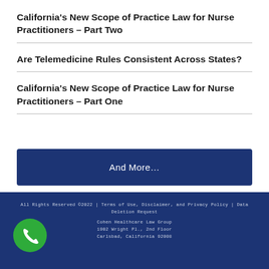California's New Scope of Practice Law for Nurse Practitioners – Part Two
Are Telemedicine Rules Consistent Across States?
California's New Scope of Practice Law for Nurse Practitioners – Part One
And More…
All Rights Reserved ©2022 | Terms of Use, Disclaimer, and Privacy Policy | Data Deletion Request
Cohen Healthcare Law Group
1902 Wright Pl., 2nd Floor
Carlsbad, California 92008